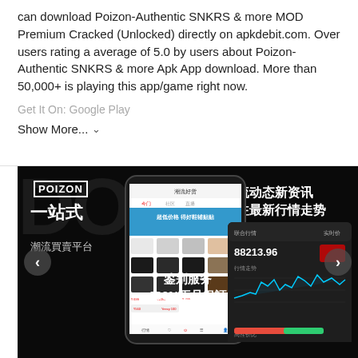can download Poizon-Authentic SNKRS & more MOD Premium Cracked (Unlocked) directly on apkdebit.com. Over users rating a average of 5.0 by users about Poizon-Authentic SNKRS & more Apk App download. More than 50,000+ is playing this app/game right now.
Get It On: Google Play
Show More... ∨
[Figure (screenshot): Dark-themed app screenshot of Poizon sneaker trading platform showing: POIZON logo top-left, Chinese text '一站式 潮流買賣平台' (one-stop trendy trading platform), center phone mockup showing product listing page, right side shows '潮流动态新资讯 关注最新行情走势' (trendy dynamic news, follow latest market trends) and a market chart, bottom center shows '鉴别服务 100%正品保証' (authentication service 100% genuine guarantee), left and right navigation arrows.]